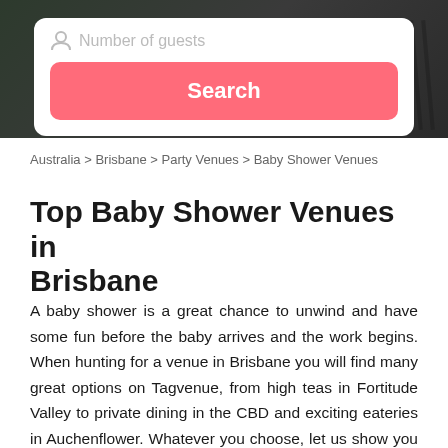[Figure (screenshot): Dark background image of an outdoor venue with chairs/furniture visible, partially obscured by a white search card overlay.]
Number of guests
Search
Australia > Brisbane > Party Venues > Baby Shower Venues
Top Baby Shower Venues in Brisbane
A baby shower is a great chance to unwind and have some fun before the baby arrives and the work begins. When hunting for a venue in Brisbane you will find many great options on Tagvenue, from high teas in Fortitude Valley to private dining in the CBD and exciting eateries in Auchenflower. Whatever you choose, let us show you the way. Take advantage of Tagvenue's smart filters and book